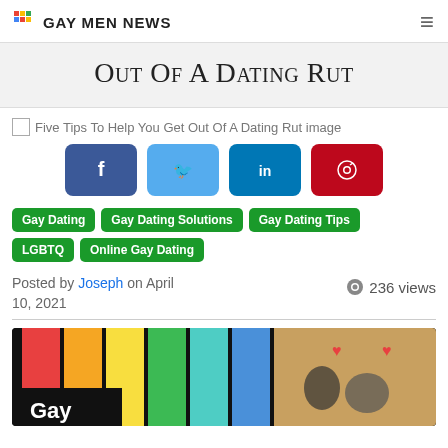Gay Men News
Out Of A Dating Rut
[Figure (other): Broken image placeholder for article image: Five Tips To Help You Get Out Of A Dating Rut image]
[Figure (other): Social share buttons: Facebook, Twitter, LinkedIn, Pinterest]
Gay Dating
Gay Dating Solutions
Gay Dating Tips
LGBTQ
Online Gay Dating
Posted by Joseph on April 10, 2021   ● 236 views
[Figure (photo): Rainbow-striped vertical bars (red, orange, yellow, green, teal, blue) on black background with 'Gay' text in white; right half shows two young men with heart emojis overlay]